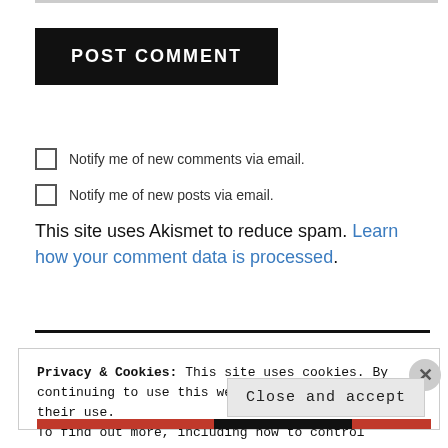POST COMMENT
Notify me of new comments via email.
Notify me of new posts via email.
This site uses Akismet to reduce spam. Learn how your comment data is processed.
Privacy & Cookies: This site uses cookies. By continuing to use this website, you agree to their use. To find out more, including how to control cookies, see here: Cookie Policy. Close and accept